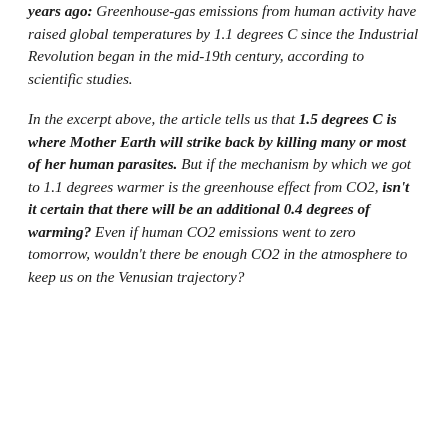years ago: Greenhouse-gas emissions from human activity have raised global temperatures by 1.1 degrees C since the Industrial Revolution began in the mid-19th century, according to scientific studies.
In the excerpt above, the article tells us that 1.5 degrees C is where Mother Earth will strike back by killing many or most of her human parasites. But if the mechanism by which we got to 1.1 degrees warmer is the greenhouse effect from CO2, isn't it certain that there will be an additional 0.4 degrees of warming? Even if human CO2 emissions went to zero tomorrow, wouldn't there be enough CO2 in the atmosphere to keep us on the Venusian trajectory?